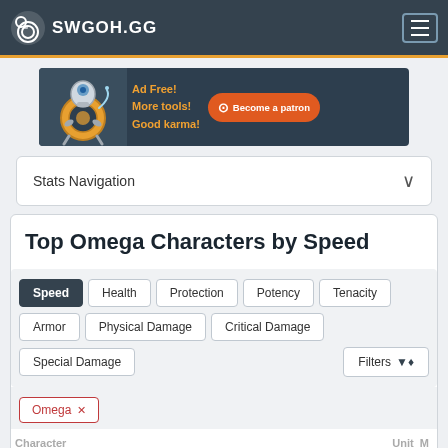SWGOH.GG
[Figure (infographic): Ad banner: BB-8 droid with text 'Ad Free! More tools! Good karma!' and orange 'Become a patron' button]
Stats Navigation
Top Omega Characters by Speed
Speed | Health | Protection | Potency | Tenacity | Armor | Physical Damage | Critical Damage | Special Damage | Filters
Omega ×
Character | Unit | M